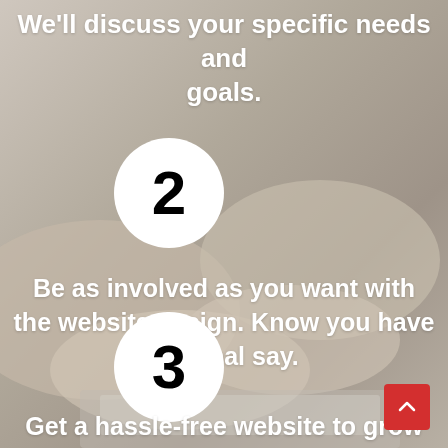[Figure (photo): Background photo of two people shaking hands over a desk, muted/desaturated warm tone overlay]
We'll discuss your specific needs and goals.
[Figure (infographic): White circle with number 2 inside]
Be as involved as you want with the website design. Know you have the final say.
[Figure (infographic): White circle with number 3 inside]
Get a hassle-free website to grow